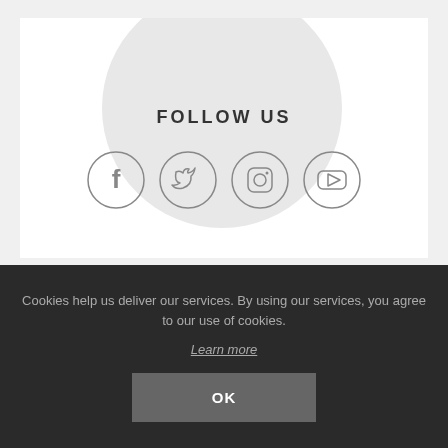[Figure (infographic): Social media follow icons section with large circle background showing FOLLOW US heading and four social media icons: Facebook, Twitter, Instagram, YouTube]
Cookies help us deliver our services. By using our services, you agree to our use of cookies.
Learn more
OK